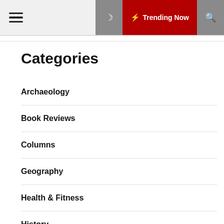☰ ☽ ⚡ Trending Now 🔍
Categories
Archaeology
Book Reviews
Columns
Geography
Health & Fitness
History